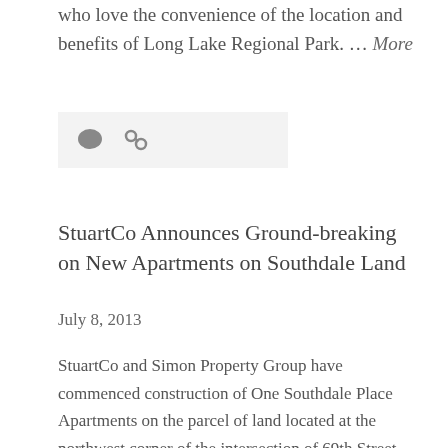who love the convenience of the location and benefits of Long Lake Regional Park. … More
[Figure (other): Icon bar with comment bubble and link icons on a light gray background]
StuartCo Announces Ground-breaking on New Apartments on Southdale Land
July 8, 2013
StuartCo and Simon Property Group have commenced construction of One Southdale Place Apartments on the parcel of land located at the northwest corner of the intersection of 69th Street and York Avenue South in Edina. Kraus-Anderson Construction Company is the selected builder of the project designed by Minneapolis-based BKV Group. The sophisticated multifamily project